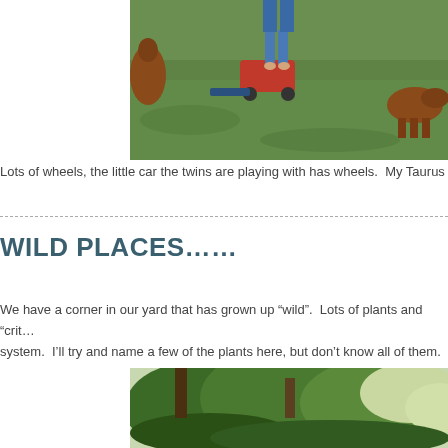[Figure (photo): Outdoor scene with children playing with a red toy car on a grassy lawn, with a dog visible on the right side.]
Lots of wheels, the little car the twins are playing with has wheels.  My Taurus
WILD PLACES……
We have a corner in our yard that has grown up “wild”.  Lots of plants and “crit… system.  I’ll try and name a few of the plants here, but don’t know all of them.
[Figure (photo): Lush green garden corner with dense plants and trees, a wild overgrown area.]